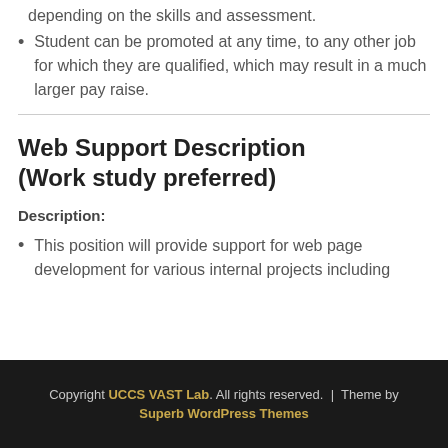depending on the skills and assessment.
Student can be promoted at any time, to any other job for which they are qualified, which may result in a much larger pay raise.
Web Support Description (Work study preferred)
Description:
This position will provide support for web page development for various internal projects including
Copyright UCCS VAST Lab. All rights reserved. | Theme by Superb WordPress Themes